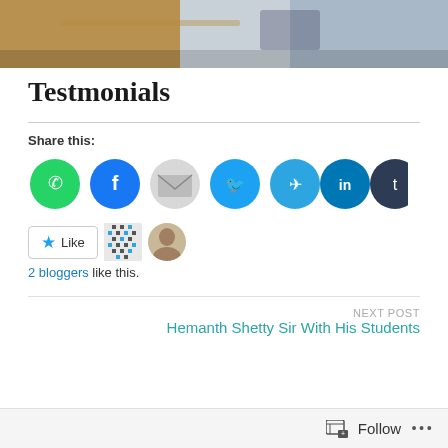[Figure (photo): Cropped photograph showing a desk/office scene, partially visible at the top of the page]
Testmonials
Share this:
[Figure (infographic): Row of social sharing buttons: WhatsApp (green), Facebook (blue), Email (gray), Twitter (light blue), Telegram (cyan), LinkedIn (blue), Tumblr (dark navy)]
[Figure (infographic): WordPress Like button with star icon, and two blogger avatars (pixel art and photo)]
2 bloggers like this.
NEXT POST
Hemanth Shetty Sir With His Students
Follow ...